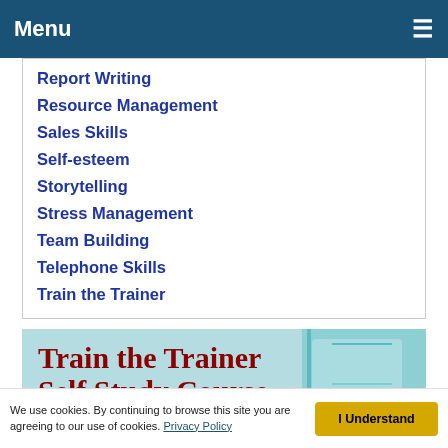Menu
Report Writing
Resource Management
Sales Skills
Self-esteem
Storytelling
Stress Management
Team Building
Telephone Skills
Train the Trainer
[Figure (photo): Hero image showing 'Train the Trainer Self Study Course' title in dark red over a light teal background with office/classroom imagery]
We use cookies. By continuing to browse this site you are agreeing to our use of cookies. Privacy Policy